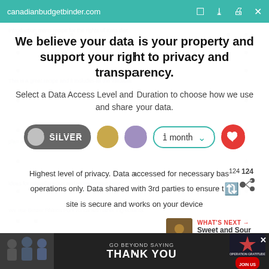canadianbudgetbinder.com
We believe your data is your property and support your right to privacy and transparency.
Select a Data Access Level and Duration to choose how we use and share your data.
[Figure (infographic): Privacy level selector showing Silver toggle button, gold circle, purple circle, 1-month dropdown selector, and red heart button]
Highest level of privacy. Data accessed for necessary basic operations only. Data shared with 3rd parties to ensure the site is secure and works on your device
[Figure (infographic): What's Next card with image thumbnail showing Sweet and Sour Red... with share icon and count 124]
Save my preferences
[Figure (infographic): Bottom advertisement banner: GO BEYOND SAYING THANK YOU - Operation Gratitude JOIN US]